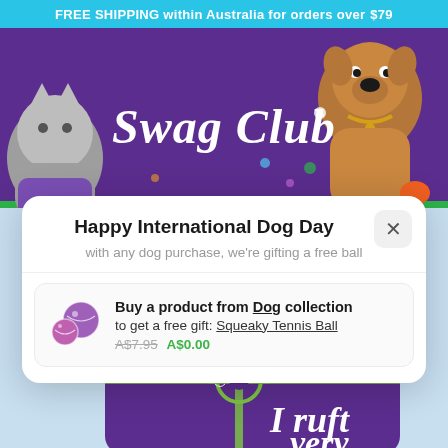FREE SHIPPING within Australia for orders over $79
[Figure (illustration): Purple background 'Swag Club' banner with illustrated dog and cat characters]
Happy International Dog Day
with any dog purchase, we're gifting a free ball
Buy a product from Dog collection to get a free gift: Squeaky Tennis Ball A$7.95 A$0.00
[Figure (illustration): Purple KAZOO gift card with green ribbon and text 'I ruft very' (partial), KAZOO Making tails wag branding]